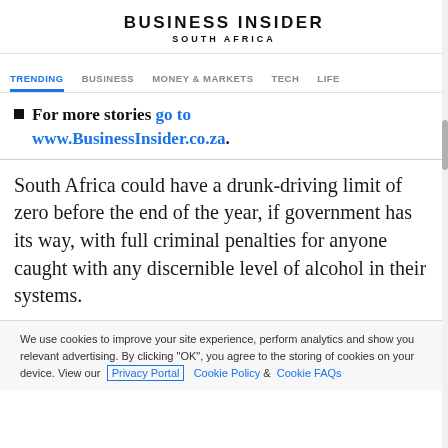BUSINESS INSIDER
SOUTH AFRICA
TRENDING   BUSINESS   MONEY & MARKETS   TECH   LIFE
For more stories go to www.BusinessInsider.co.za.
South Africa could have a drunk-driving limit of zero before the end of the year, if government has its way, with full criminal penalties for anyone caught with any discernible level of alcohol in their systems.
We use cookies to improve your site experience, perform analytics and show you relevant advertising. By clicking "OK", you agree to the storing of cookies on your device. View our Privacy Portal   Cookie Policy &  Cookie FAQs